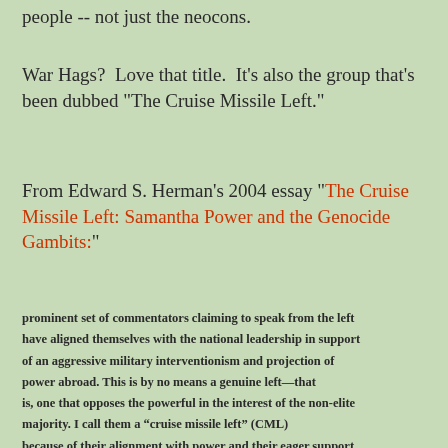people -- not just the neocons.
War Hags?  Love that title.  It's also the group that's been dubbed "The Cruise Missile Left."
From Edward S. Herman's 2004 essay "The Cruise Missile Left: Samantha Power and the Genocide Gambits:"
prominent set of commentators claiming to speak from the left have aligned themselves with the national leadership in support of an aggressive military interventionism and projection of power abroad. This is by no means a genuine left—that is, one that opposes the powerful in the interest of the non-elite majority. I call them a “cruise missile left” (CML) because of their alignment with power and their eager support of external violence, which is a very important component of their intellectual labors. One of their cohort, Christopher